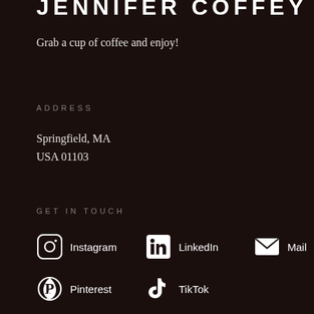JENNIFER COFFEY
Grab a cup of coffee and enjoy!
ADDRESS
Springfield, MA
USA 01103
GET IN TOUCH
Instagram
LinkedIn
Mail
Pinterest
TikTok